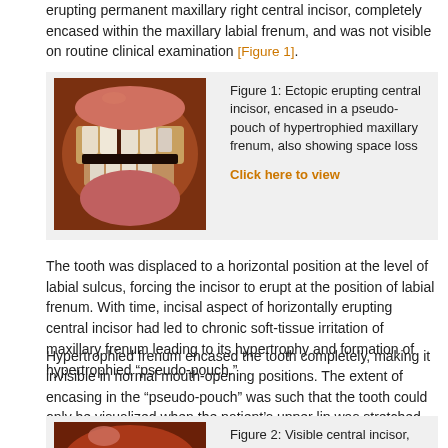erupting permanent maxillary right central incisor, completely encased within the maxillary labial frenum, and was not visible on routine clinical examination [Figure 1].
[Figure (photo): Intraoral photograph showing ectopic erupting central incisor encased in hypertrophied maxillary frenum with space loss]
Figure 1: Ectopic erupting central incisor, encased in a pseudo-pouch of hypertrophied maxillary frenum, also showing space loss
The tooth was displaced to a horizontal position at the level of labial sulcus, forcing the incisor to erupt at the position of labial frenum. With time, incisal aspect of horizontally erupting central incisor had led to chronic soft-tissue irritation of maxillary frenum leading to its hypertrophy and formation of hypertrophied “pseudo-pouch.”
Hypertrophied frenum encased the tooth completely, making it invisible in normal mouth-opening positions. The extent of encasing in the “pseudo-pouch” was such that the tooth could only be visualized when the patient’s upper lip was stretched upward and outward. Moreover, there occurred displacement of adjacent incisors resulting in a loss of space [Figure 2].
[Figure (photo): Photograph showing visible central incisor seen by outstretching the lip and frenum]
Figure 2: Visible central incisor, seen by outstretching the lip and frenum,